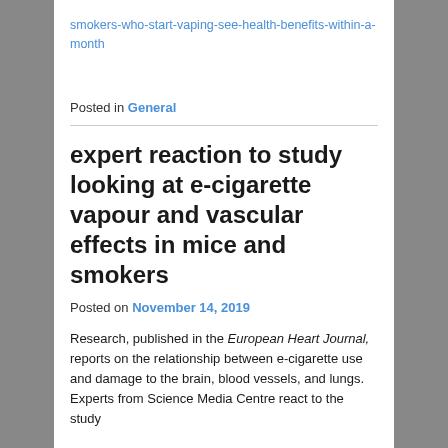smokers-who-start-vaping-see-health-benefits-within-a-month
Posted in General
expert reaction to study looking at e-cigarette vapour and vascular effects in mice and smokers
Posted on November 14, 2019
Research, published in the European Heart Journal, reports on the relationship between e-cigarette use and damage to the brain, blood vessels, and lungs. Experts from Science Media Centre react to the study